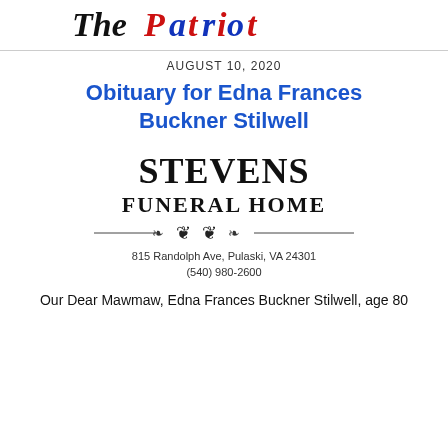The Patriot
AUGUST 10, 2020
Obituary for Edna Frances Buckner Stilwell
[Figure (logo): Stevens Funeral Home logo with ornamental divider, address 815 Randolph Ave, Pulaski, VA 24301, phone (540) 980-2600]
Our Dear Mawmaw, Edna Frances Buckner Stilwell, age 80